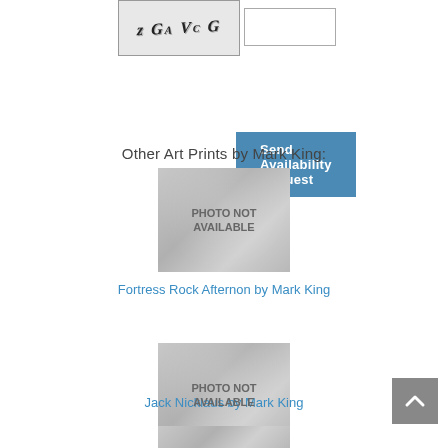[Figure (other): CAPTCHA image with distorted text 'zGAVCG' with noise pattern, followed by a blank text input box]
Send Availability Request
Other Art Prints by Mark King:
[Figure (photo): Photo not available placeholder showing faded Mona Lisa watermark with text 'PHOTO NOT AVAILABLE']
Fortress Rock Afternon by Mark King
[Figure (photo): Photo not available placeholder showing faded Mona Lisa watermark with text 'PHOTO NOT AVAILABLE']
Jack Nicklaus by Mark King
[Figure (photo): Partially visible photo not available placeholder at bottom of page]
[Figure (other): Back to top button - grey square with upward pointing chevron arrow]